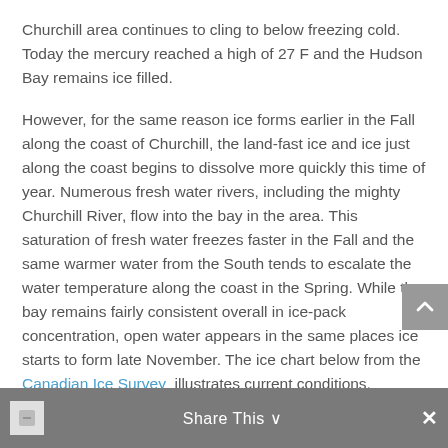Churchill area continues to cling to below freezing cold. Today the mercury reached a high of 27 F and the Hudson Bay remains ice filled.
However, for the same reason ice forms earlier in the Fall along the coast of Churchill, the land-fast ice and ice just along the coast begins to dissolve more quickly this time of year. Numerous fresh water rivers, including the mighty Churchill River, flow into the bay in the area. This saturation of fresh water freezes faster in the Fall and the same warmer water from the South tends to escalate the water temperature along the coast in the Spring. While the bay remains fairly consistent overall in ice-pack concentration, open water appears in the same places ice starts to form late November. The ice chart below from the Canadian Ice Survey illustrates current conditions.
[Figure (other): Share This toolbar at the bottom with a share icon, Share This text with dropdown chevron, and a close (x) button]